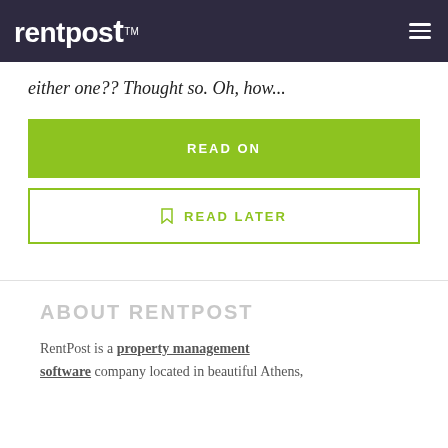rentpost™
either one?? Thought so. Oh, how...
READ ON
🔖 READ LATER
ABOUT RENTPOST
RentPost is a property management software company located in beautiful Athens,